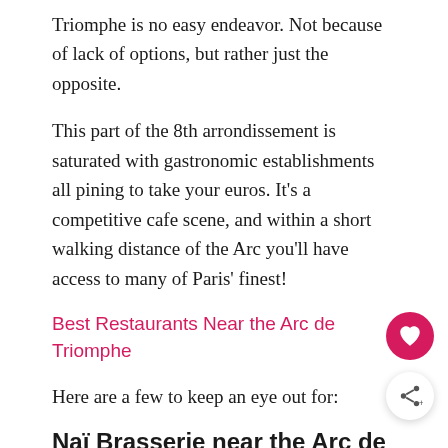Triomphe is no easy endeavor. Not because of lack of options, but rather just the opposite.
This part of the 8th arrondissement is saturated with gastronomic establishments all pining to take your euros. It’s a competitive cafe scene, and within a short walking distance of the Arc you’ll have access to many of Paris’ finest!
Best Restaurants Near the Arc de Triomphe
Here are a few to keep an eye out for:
Naï Brasserie near the Arc de Triomphe in Paris
An authentic Lebanese cafe right next to the Arc de